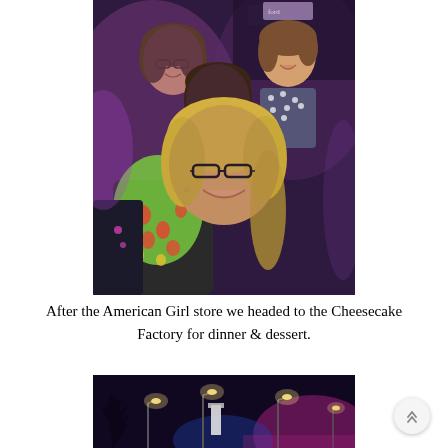[Figure (photo): Group selfie of four people (three adult women and a young girl) outdoors at night with purple/pink ambient lighting. The foreground woman has blonde hair and glasses, wearing a colorful green and red patterned scarf. Behind her are two other women and a little girl.]
After the American Girl store we headed to the Cheesecake Factory for dinner & dessert.
[Figure (photo): Nighttime outdoor scene with street lights and purple/pink lighting, dark sky, partially visible bare trees and outdoor signage in the background.]